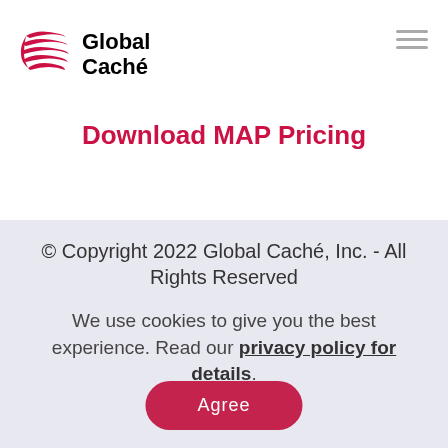[Figure (logo): Global Caché logo with red globe/lines icon and bold black text reading 'Global Caché']
Download MAP Pricing
© Copyright 2022 Global Caché, Inc. - All Rights Reserved
We use cookies to give you the best experience. Read our privacy policy for details.